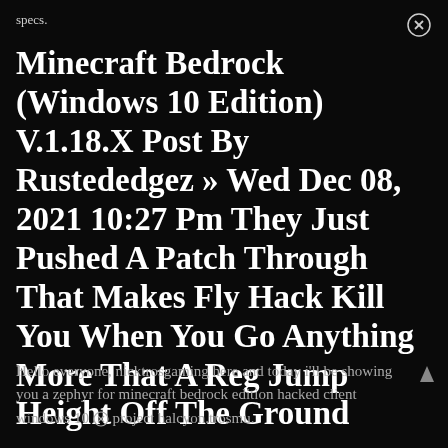specs.
Minecraft Bedrock (Windows 10 Edition) V.1.18.X Post By Rustededgez » Wed Dec 08, 2021 10:27 Pm They Just Pushed A Patch Through That Makes Fly Hack Kill You When You Go Anything More That A Reg Jump Height Off The Ground
Hello everyone, nicktrosgaming here and today i'll be showing you a zephyr for minecraft bedrock edition hacked client windows 10 ⊗ project halcyon.trosmu.